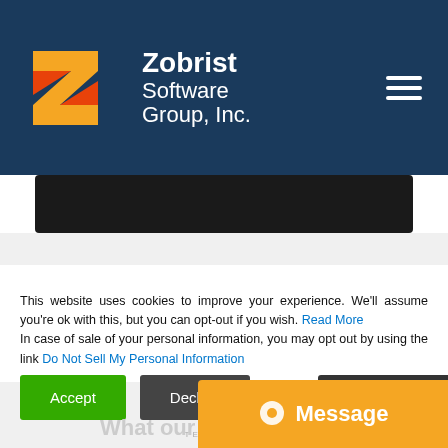[Figure (logo): Zobrist Software Group Inc. logo with orange/yellow Z shape and company name in white on dark blue header background]
[Figure (photo): Dark image strip partially visible below header]
This website uses cookies to improve your experience. We'll assume you're ok with this, but you can opt-out if you wish. Read More In case of sale of your personal information, you may opt out by using the link Do Not Sell My Personal Information
Accept
Decline
What our custo
Message